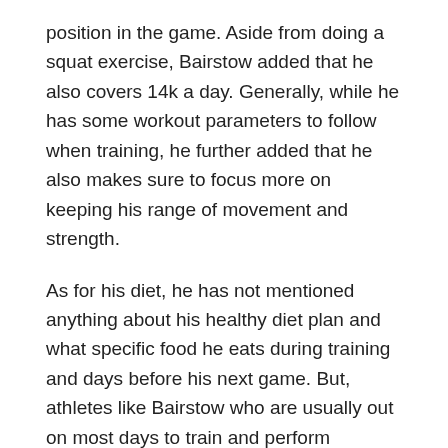position in the game. Aside from doing a squat exercise, Bairstow added that he also covers 14k a day. Generally, while he has some workout parameters to follow when training, he further added that he also makes sure to focus more on keeping his range of movement and strength.
As for his diet, he has not mentioned anything about his healthy diet plan and what specific food he eats during training and days before his next game. But, athletes like Bairstow who are usually out on most days to train and perform physical activities, generally prefer foods that can easily replenish their strength and energy.
Jonny Bairstow Favorite Things
Pets – Dogs